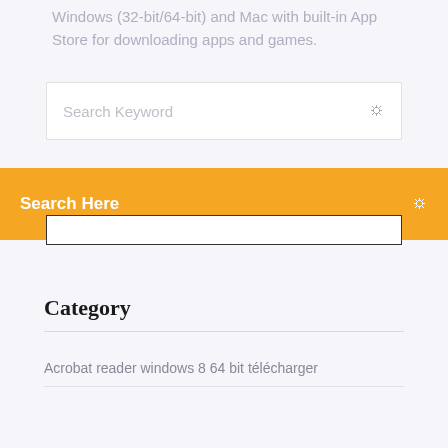Windows (32-bit/64-bit) and Mac with built-in App Store for downloading apps and games.
[Figure (screenshot): Search keyword input box with placeholder text and search icon]
Search Here
Category
Acrobat reader windows 8 64 bit télécharger